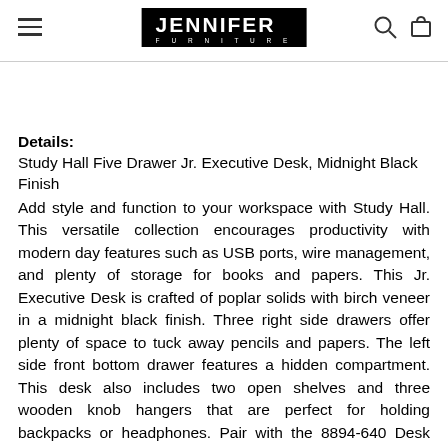Jennifer Furniture — navigation header with menu, logo, search, and cart icons
Details:
Study Hall Five Drawer Jr. Executive Desk, Midnight Black Finish
Add style and function to your workspace with Study Hall. This versatile collection encourages productivity with modern day features such as USB ports, wire management, and plenty of storage for books and papers. This Jr. Executive Desk is crafted of poplar solids with birch veneer in a midnight black finish. Three right side drawers offer plenty of space to tuck away pencils and papers. The left side front bottom drawer features a hidden compartment. This desk also includes two open shelves and three wooden knob hangers that are perfect for holding backpacks or headphones. Pair with the 8894-640 Desk Chair for added comfort while you tick